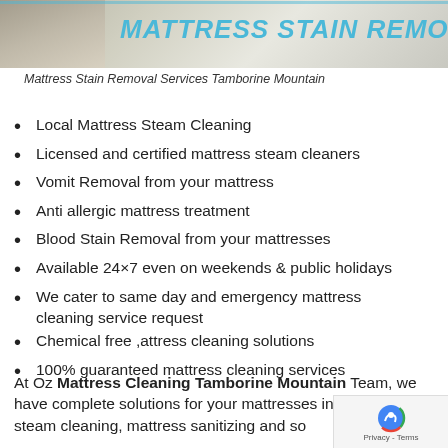[Figure (photo): Header image showing a mattress with title overlay 'MATTRESS STAIN REMOVAL' in cyan italic bold text on a light background photo of a mattress]
Mattress Stain Removal Services Tamborine Mountain
Local Mattress Steam Cleaning
Licensed and certified mattress steam cleaners
Vomit Removal from your mattress
Anti allergic mattress treatment
Blood Stain Removal from your mattresses
Available 24×7 even on weekends & public holidays
We cater to same day and emergency mattress cleaning service request
Chemical free ,attress cleaning solutions
100% guaranteed mattress cleaning services
At Oz Mattress Cleaning Tamborine Mountain Team, we have complete solutions for your mattresses includi mattress steam cleaning, mattress sanitizing and so